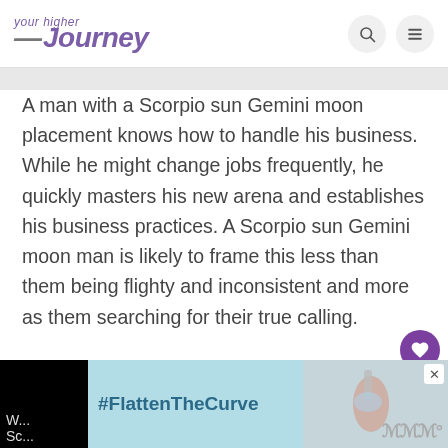your higher journey
A man with a Scorpio sun Gemini moon placement knows how to handle his business. While he might change jobs frequently, he quickly masters his new arena and establishes his business practices. A Scorpio sun Gemini moon man is likely to frame this less than them being flighty and inconsistent and more as them searching for their true calling.
[Figure (screenshot): Advertisement banner: #FlattenTheCurve with image of handwashing]